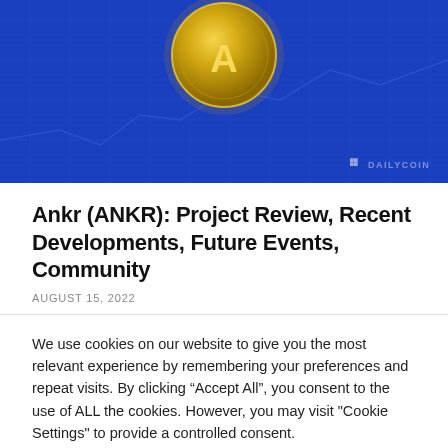[Figure (photo): Hero image with blue background showing a gold cryptocurrency coin (ANKR) against a blue grid/chart pattern background. DailyCoin watermark visible at bottom right.]
Ankr (ANKR): Project Review, Recent Developments, Future Events, Community
AUGUST 15, 2022
We use cookies on our website to give you the most relevant experience by remembering your preferences and repeat visits. By clicking “Accept All”, you consent to the use of ALL the cookies. However, you may visit "Cookie Settings" to provide a controlled consent.
Read our Cookie Statement